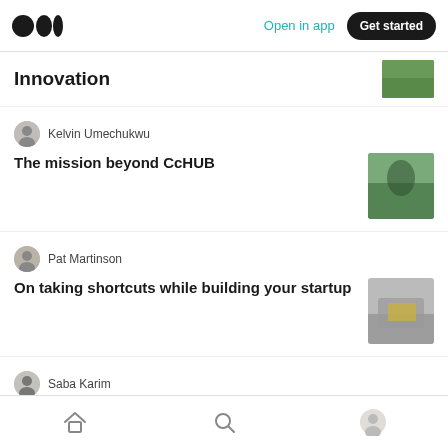Medium — Open in app | Get started
Innovation
Kelvin Umechukwu
The mission beyond CcHUB
Pat Martinson
On taking shortcuts while building your startup
Saba Karim
Foundational Resources for Founders
Hunter Hastings in Center for Individualism
Home | Search | Profile